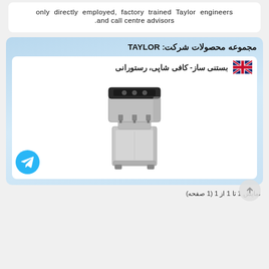only directly employed, factory trained Taylor engineers and call centre advisors.
مجموعه محصولات شرکت: TAYLOR
بستنی ساز- کافی شاپی، رستورانی
[Figure (photo): Commercial soft-serve ice cream machine, stainless steel finish with black top panel and three dispensing nozzles]
نمایش 1 تا 1 از 1 (1 صفحه)